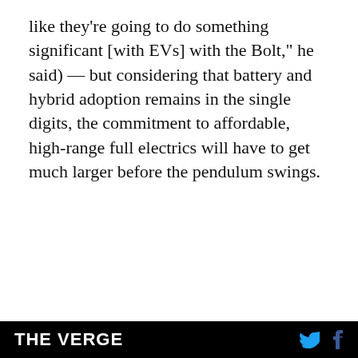like they're going to do something significant [with EVs] with the Bolt," he said) — but considering that battery and hybrid adoption remains in the single digits, the commitment to affordable, high-range full electrics will have to get much larger before the pendulum swings.
[Figure (screenshot): Advertisement banner for Lenovo with red background showing 'AD' label, brand name 'Lenovo', and tagline 'Beautifully designed to just be you.' followed by a video player showing error message 'The media could not be loaded, either because the server or network failed or because the format is not supported.' with a play button icon.]
THE VERGE